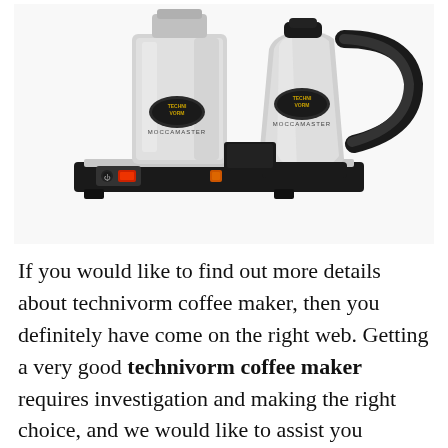[Figure (photo): Two Technivorm Moccamaster coffee makers with stainless steel thermal carafes on a black base unit with red power switch indicator lights. The appliances have brushed silver/chrome finish with black accents and Technivorm Moccamaster branding logos visible.]
If you would like to find out more details about technivorm coffee maker, then you definitely have come on the right web. Getting a very good technivorm coffee maker requires investigation and making the right choice, and we would like to assist you